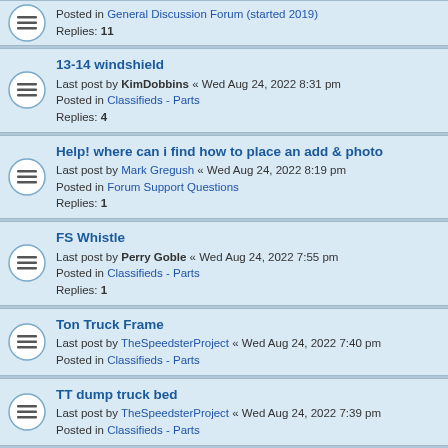Posted in General Discussion Forum (started 2019)
Replies: 11
13-14 windshield
Last post by KimDobbins « Wed Aug 24, 2022 8:31 pm
Posted in Classifieds - Parts
Replies: 4
Help! where can i find how to place an add & photo
Last post by Mark Gregush « Wed Aug 24, 2022 8:19 pm
Posted in Forum Support Questions
Replies: 1
FS Whistle
Last post by Perry Goble « Wed Aug 24, 2022 7:55 pm
Posted in Classifieds - Parts
Replies: 1
Ton Truck Frame
Last post by TheSpeedsterProject « Wed Aug 24, 2022 7:40 pm
Posted in Classifieds - Parts
TT dump truck bed
Last post by TheSpeedsterProject « Wed Aug 24, 2022 7:39 pm
Posted in Classifieds - Parts
1925 TT 5:1 rearend
Last post by TheSpeedsterProject « Wed Aug 24, 2022 7:37 pm
Posted in Classifieds - Parts
Coil points
Last post by JohnH « Wed Aug 24, 2022 7:30 pm
Posted in General Discussion Forum (started 2019)
Replies: 4
The Model T Speedster Project